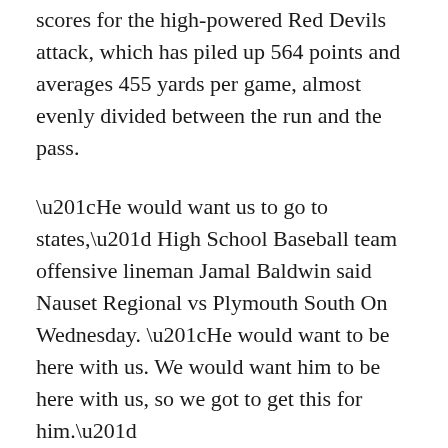scores for the high-powered Red Devils attack, which has piled up 564 points and averages 455 yards per game, almost evenly divided between the run and the pass.
“He would want us to go to states,” High School Baseball team offensive lineman Jamal Baldwin said Nauset Regional vs Plymouth South On Wednesday. “He would want to be here with us. We would want him to be here with us, so we got to get this for him.”